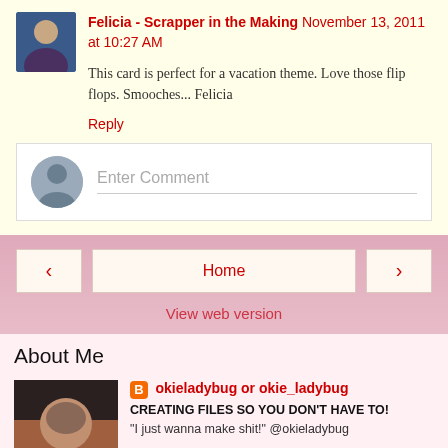Felicia - Scrapper in the Making  November 13, 2011 at 10:27 AM
This card is perfect for a vacation theme. Love those flip flops. Smooches... Felicia
Reply
Enter Comment
‹
Home
›
View web version
About Me
okieladybug or okie_ladybug
CREATING FILES SO YOU DON'T HAVE TO!
"I just wanna make shit!" @okieladybug